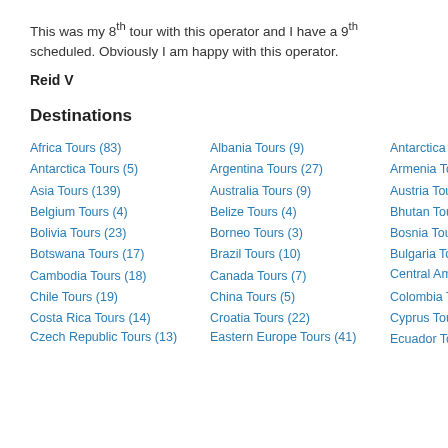This was my 8th tour with this operator and I have a 9th scheduled. Obviously I am happy with this operator.
Reid V
Destinations
Africa Tours (83)
Albania Tours (9)
Antarctica Tours (5)
Antarctica Tours (5)
Argentina Tours (27)
Armenia Tours (1)
Asia Tours (139)
Australia Tours (9)
Austria Tours (18)
Belgium Tours (4)
Belize Tours (4)
Bhutan Tours (3)
Bolivia Tours (23)
Borneo Tours (3)
Bosnia Tours (2)
Botswana Tours (17)
Brazil Tours (10)
Bulgaria Tours (2)
Cambodia Tours (18)
Canada Tours (7)
Central America Tours (19)
Chile Tours (19)
China Tours (5)
Colombia Tours (7)
Costa Rica Tours (14)
Croatia Tours (22)
Cyprus Tours (1)
Czech Republic Tours (13)
Eastern Europe Tours (41)
Ecuador Tours (35)